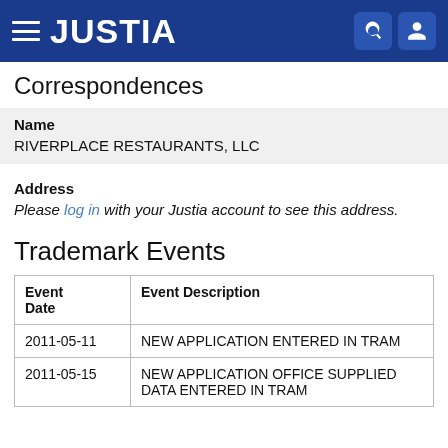JUSTIA
Correspondences
Name
RIVERPLACE RESTAURANTS, LLC
Address
Please log in with your Justia account to see this address.
Trademark Events
| Event Date | Event Description |
| --- | --- |
| 2011-05-11 | NEW APPLICATION ENTERED IN TRAM |
| 2011-05-15 | NEW APPLICATION OFFICE SUPPLIED DATA ENTERED IN TRAM |